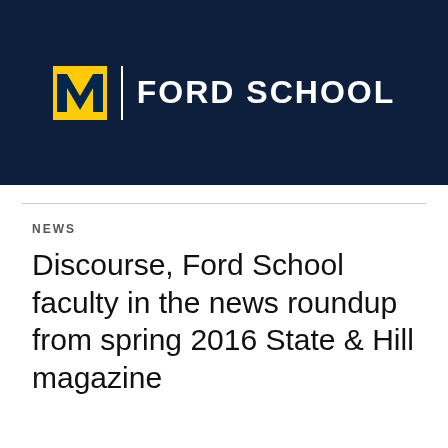[Figure (logo): University of Michigan Ford School logo: gold block M with vertical white divider and white text FORD SCHOOL on dark navy background]
NEWS
Discourse, Ford School faculty in the news roundup from spring 2016 State & Hill magazine